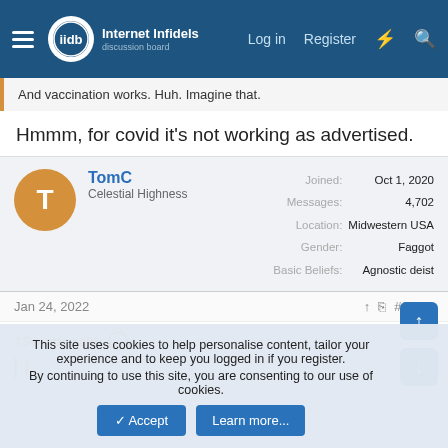Internet Infidels — Log in  Register
And vaccination works. Huh. Imagine that.
Hmmm, for covid it's not working as advertised.
TomC — Celestial Highness — Joined: Oct 1, 2020 — Messages: 4,702 — Location: Midwestern USA — Gender: Faggot — Basic Beliefs: Agnostic deist
Jan 24, 2022  #6,480
TSwizzle said:
This site uses cookies to help personalise content, tailor your experience and to keep you logged in if you register. By continuing to use this site, you are consenting to our use of cookies.